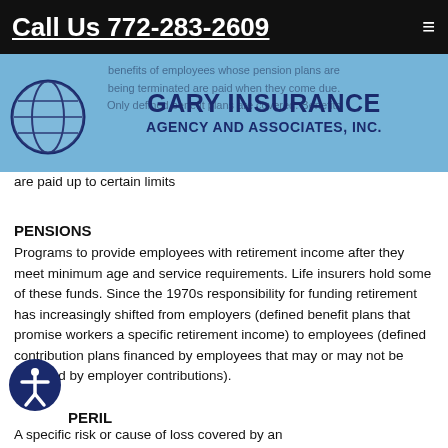Call Us 772-283-2609
[Figure (logo): Gary Insurance Agency and Associates, Inc. logo with globe icon on blue banner background]
benefits of employees whose pension plans are being terminated are paid when they come due. Only defined benefit plans are covered. Benefits are paid up to certain limits
PENSIONS
Programs to provide employees with retirement income after they meet minimum age and service requirements. Life insurers hold some of these funds. Since the 1970s responsibility for funding retirement has increasingly shifted from employers (defined benefit plans that promise workers a specific retirement income) to employees (defined contribution plans financed by employees that may or may not be matched by employer contributions).
PERIL
A specific risk or cause of loss covered by an